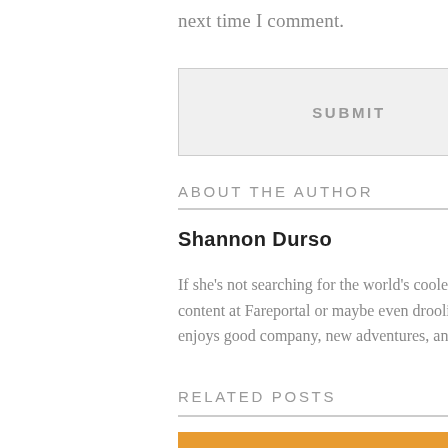next time I comment.
SUBMIT
ABOUT THE AUTHOR
Shannon Durso
If she's not searching for the world's coolest destinations she has yet to explore, you can find her writing content at Fareportal or maybe even drooling over a foodies latest post. Shannon's a Brooklyn native who enjoys good company, new adventures, and a great laugh!
RELATED POSTS